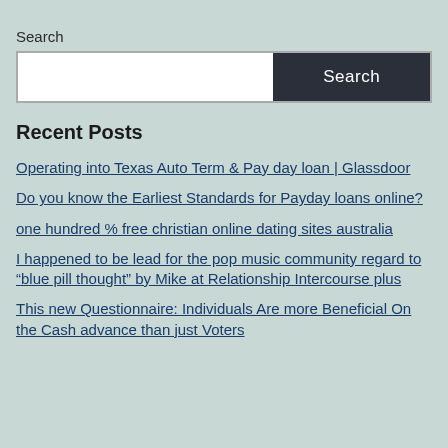Search
Search [input box with Search button]
Recent Posts
Operating into Texas Auto Term & Pay day loan | Glassdoor
Do you know the Earliest Standards for Payday loans online?
one hundred % free christian online dating sites australia
I happened to be lead for the pop music community regard to “blue pill thought” by Mike at Relationship Intercourse plus
This new Questionnaire: Individuals Are more Beneficial On the Cash advance than just Voters